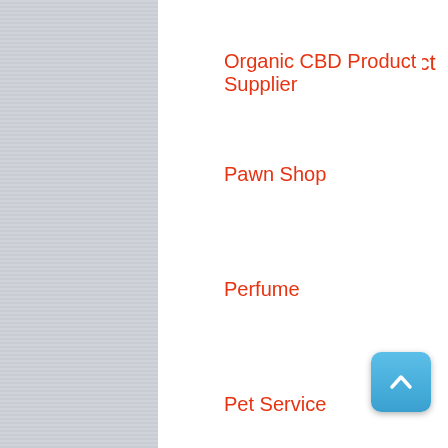Organic CBD Product Supplier
Pawn Shop
Perfume
Pet Service
Pottery Store
Shoes & Bags
Shopping
shoppingtipsonline
Sportswear Store